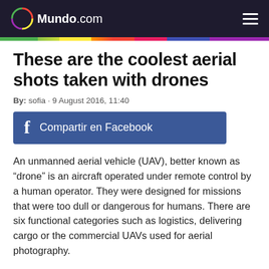Mundo.com
These are the coolest aerial shots taken with drones
By: sofia · 9 August 2016, 11:40
[Figure (other): Facebook share button reading 'Compartir en Facebook']
An unmanned aerial vehicle (UAV), better known as "drone" is an aircraft operated under remote control by a human operator. They were designed for missions that were too dull or dangerous for humans. There are six functional categories such as logistics, delivering cargo or the commercial UAVs used for aerial photography.
The pictures taken with these drones are absolutely amazing, they offer a different view that no ground photo